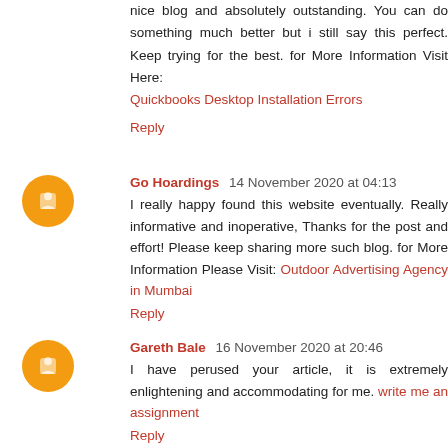nice blog and absolutely outstanding. You can do something much better but i still say this perfect. Keep trying for the best. for More Information Visit Here: Quickbooks Desktop Installation Errors
Reply
Go Hoardings  14 November 2020 at 04:13
I really happy found this website eventually. Really informative and inoperative, Thanks for the post and effort! Please keep sharing more such blog. for More Information Please Visit: Outdoor Advertising Agency in Mumbai
Reply
Gareth Bale  16 November 2020 at 20:46
I have perused your article, it is extremely enlightening and accommodating for me. write me an assignment
Reply